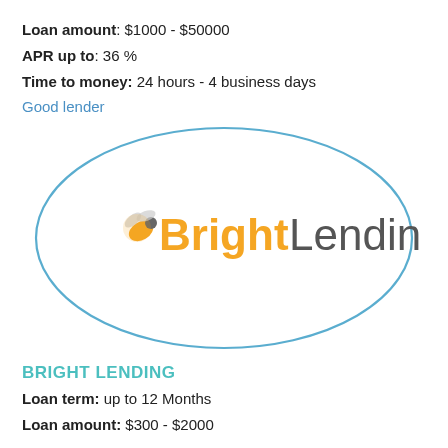Loan amount: $1000 - $50000
APR up to: 36 %
Time to money: 24 hours - 4 business days
Good lender
[Figure (logo): BrightLending logo inside a teal/blue oval ellipse outline. The logo shows a bee icon and the text 'Bright' in orange and 'Lending' in dark gray.]
BRIGHT LENDING
Loan term: up to 12 Months
Loan amount: $300 - $2000